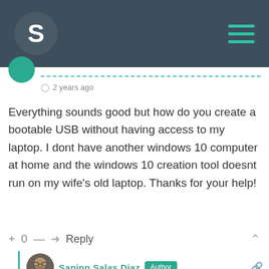S
2 years ago
Everything sounds good but how do you create a bootable USB without having access to my laptop. I dont have another windows 10 computer at home and the windows 10 creation tool doesnt run on my wife's old laptop. Thanks for your help!
+ 0 — Reply
Saninn Salas Diaz Author
Reply to Thomas  2 years ago
I have not done it but I think you could just use your wife's windows version as bootable USB. Those commands should also work there